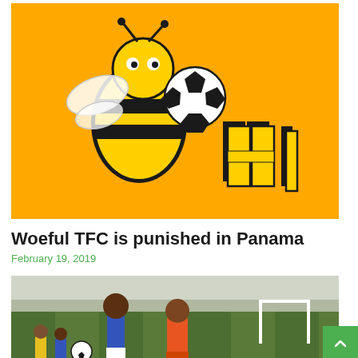[Figure (logo): Bee mascot holding a soccer ball with bold text logo on orange/yellow background]
Woeful TFC is punished in Panama
February 19, 2019
[Figure (photo): Soccer players in action, one in white uniform and one in orange uniform, competing for the ball on a green field]